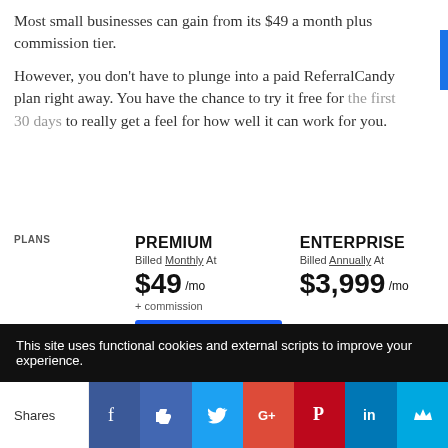Most small businesses can gain from its $49 a month plus commission tier.
However, you don't have to plunge into a paid ReferralCandy plan right away. You have the chance to try it free for the first 30 days to really get a feel for how well it can work for you.
| PLANS | PREMIUM | ENTERPRISE |
| --- | --- | --- |
|  | Billed Monthly At | Billed Annually At |
|  | $49 /mo + commission | $3,999 /mo |
|  | Try Free for 30 Days → | Request sales demo |
|  | Calculate your commission |  |
| FEATURES | ✓ Unlimited customers | ✓ Unlimited customers |
This site uses functional cookies and external scripts to improve your experience.
Shares